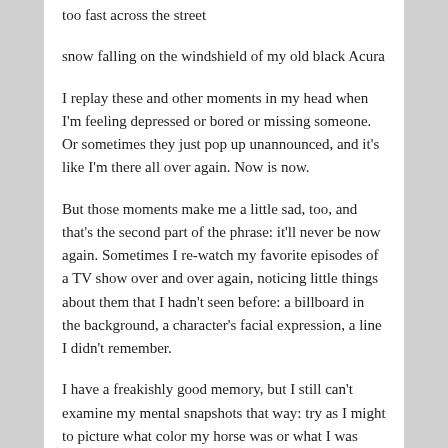too fast across the street
snow falling on the windshield of my old black Acura
I replay these and other moments in my head when I'm feeling depressed or bored or missing someone. Or sometimes they just pop up unannounced, and it's like I'm there all over again. Now is now.
But those moments make me a little sad, too, and that's the second part of the phrase: it'll never be now again. Sometimes I re-watch my favorite episodes of a TV show over and over again, noticing little things about them that I hadn't seen before: a billboard in the background, a character's facial expression, a line I didn't remember.
I have a freakishly good memory, but I still can't examine my mental snapshots that way: try as I might to picture what color my horse was or what I was wearing or what street we were on or what the house behind the mailbox looked like, I can't.